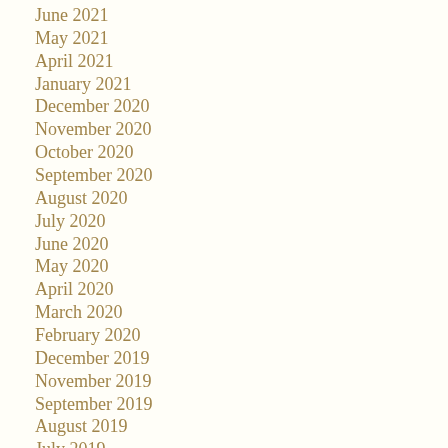June 2021
May 2021
April 2021
January 2021
December 2020
November 2020
October 2020
September 2020
August 2020
July 2020
June 2020
May 2020
April 2020
March 2020
February 2020
December 2019
November 2019
September 2019
August 2019
July 2019
June 2019
March 2019